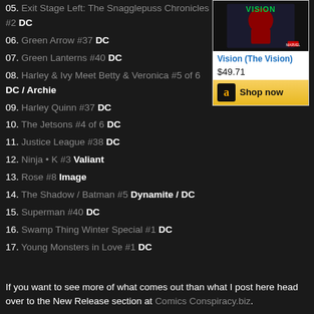05. Exit Stage Left: The Snagglepuss Chronicles #2 DC
06. Green Arrow #37 DC
07. Green Lanterns #40 DC
08. Harley & Ivy Meet Betty & Veronica #5 of 6 DC / Archie
09. Harley Quinn #37 DC
10. The Jetsons #4 of 6 DC
11. Justice League #38 DC
12. Ninja • K #3 Valiant
13. Rose #8 Image
14. The Shadow / Batman #5 Dynamite / DC
15. Superman #40 DC
16. Swamp Thing Winter Special #1 DC
17. Young Monsters in Love #1 DC
[Figure (illustration): Amazon ad for Vision (The Vision) comic book, showing cover image, price $49.71, and Shop now button]
If you want to see more of what comes out than what I post here head over to the New Release section at Comics Conspiracy.biz.